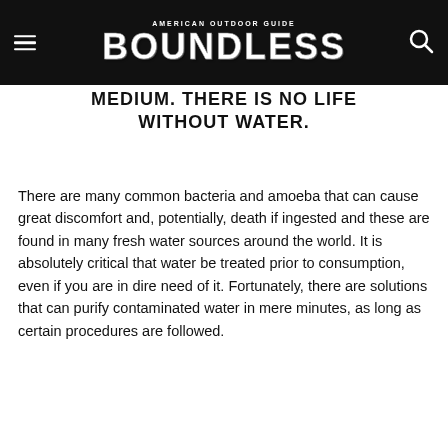AMERICAN OUTDOOR GUIDE BOUNDLESS
MEDIUM. THERE IS NO LIFE WITHOUT WATER.
There are many common bacteria and amoeba that can cause great discomfort and, potentially, death if ingested and these are found in many fresh water sources around the world. It is absolutely critical that water be treated prior to consumption, even if you are in dire need of it. Fortunately, there are solutions that can purify contaminated water in mere minutes, as long as certain procedures are followed.